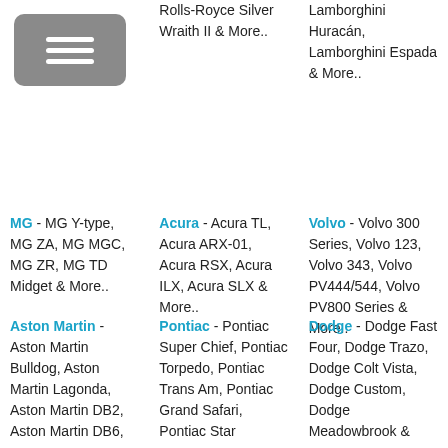[Figure (other): Menu icon button (hamburger icon) in gray rounded rectangle]
Rolls-Royce Silver Wraith II & More..
Lamborghini Huracán, Lamborghini Espada & More..
MG - MG Y-type, MG ZA, MG MGC, MG ZR, MG TD Midget & More..
Acura - Acura TL, Acura ARX-01, Acura RSX, Acura ILX, Acura SLX & More..
Volvo - Volvo 300 Series, Volvo 123, Volvo 343, Volvo PV444/544, Volvo PV800 Series & More..
Aston Martin - Aston Martin Bulldog, Aston Martin Lagonda, Aston Martin DB2, Aston Martin DB6,
Pontiac - Pontiac Super Chief, Pontiac Torpedo, Pontiac Trans Am, Pontiac Grand Safari, Pontiac Star
Dodge - Dodge Fast Four, Dodge Trazo, Dodge Colt Vista, Dodge Custom, Dodge Meadowbrook &